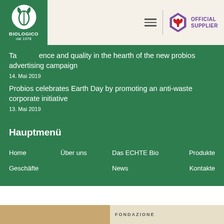[Figure (logo): Probios Biologico dal 1978 logo - green block with white circular plant emblem]
[Figure (logo): Fiorentina Official Supplier logo - purple diamond with red fleur-de-lis]
Taste, experience and quality in the hearth of the new probios advertising campaign
14. Mai 2019
Probios celebrates Earth Day by promoting an anti-waste corporate initiative
13. Mai 2019
Hauptmenü
Home
Über uns
Das ECHTE Bio
Produkte
Geschäfte
News
Kontakte
[Figure (photo): Bottom strip image with FONDAZIONE text]